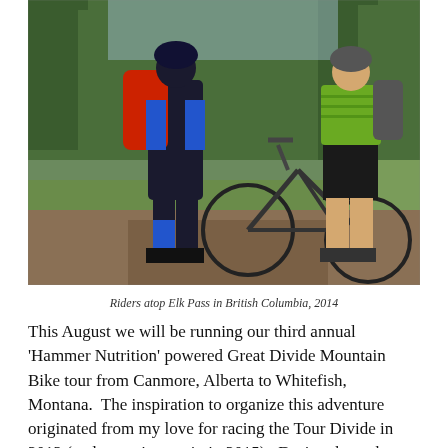[Figure (photo): Two mountain bikers with their bikes on a dirt trail surrounded by green grass and forest. One rider wears a red backpack and black cycling outfit, the other wears a green checked jersey. Photo taken in British Columbia, 2014.]
Riders atop Elk Pass in British Columbia, 2014
This August we will be running our third annual 'Hammer Nutrition' powered Great Divide Mountain Bike tour from Canmore, Alberta to Whitefish, Montana.  The inspiration to organize this adventure originated from my love for racing the Tour Divide in 2012 (and returning again in 2015).  During those three weeks along the spine of the continent, I often